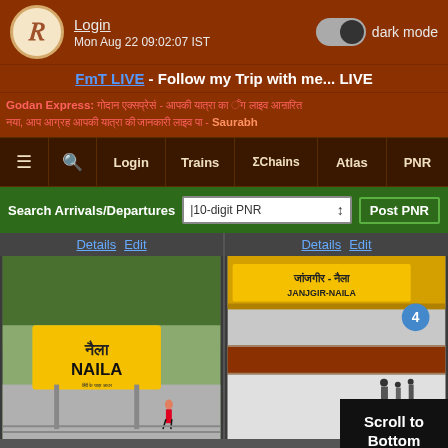[Figure (screenshot): Indian Railways fan website (RailFanning) mobile app screenshot showing header with logo, login, dark mode toggle, FmT LIVE banner, Godan Express news ticker, navigation bar, search arrivals/departures bar, and two station photo cards (NAILA station and JANJGIR-NAILA station)]
Login
Mon Aug 22 09:02:07 IST
dark mode
FmT LIVE - Follow my Trip with me... LIVE
Godan Express: [Hindi text] - [Hindi text] - Saurabh
≡  🔍  Login  Trains  ΣChains  Atlas  PNR
Search Arrivals/Departures  10-digit PNR ⬍  Post PNR
Details Edit
Details Edit
Entry# 820553-0
Entry# 1744...
Scroll to Bottom